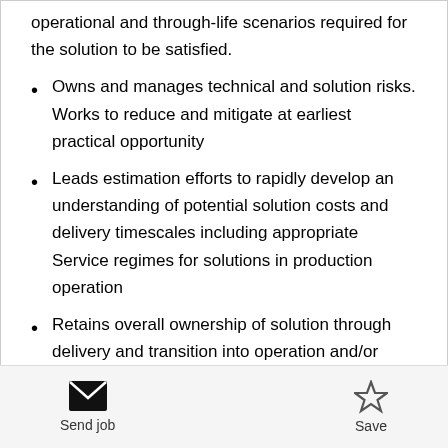operational and through-life scenarios required for the solution to be satisfied.
Owns and manages technical and solution risks. Works to reduce and mitigate at earliest practical opportunity
Leads estimation efforts to rapidly develop an understanding of potential solution costs and delivery timescales including appropriate Service regimes for solutions in production operation
Retains overall ownership of solution through delivery and transition into operation and/or subsequent refinement, or modification
Send job   Save